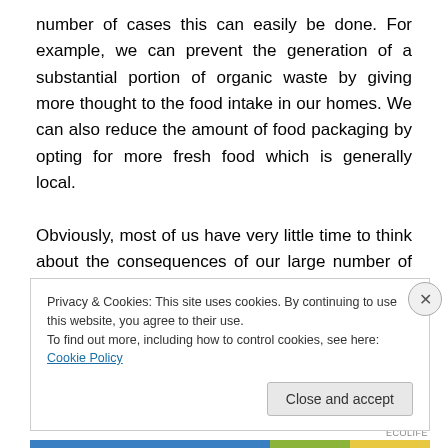number of cases this can easily be done. For example, we can prevent the generation of a substantial portion of organic waste by giving more thought to the food intake in our homes. We can also reduce the amount of food packaging by opting for more fresh food which is generally local.

Obviously, most of us have very little time to think about the consequences of our large number of small decisions which end up generating a lot of waste. Convenience generally wins the day, as we often opt for packaged and
Privacy & Cookies: This site uses cookies. By continuing to use this website, you agree to their use.
To find out more, including how to control cookies, see here: Cookie Policy
Close and accept